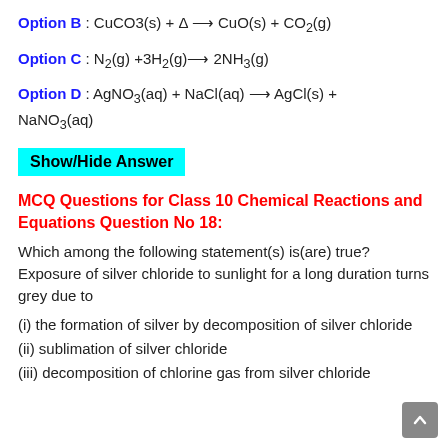Option B : CuCO3(s) + Δ → CuO(s) + CO2(g)
Option C : N2(g) +3H2(g)→ 2NH3(g)
Option D : AgNO3(aq) + NaCl(aq) → AgCl(s) + NaNO3(aq)
Show/Hide Answer
MCQ Questions for Class 10 Chemical Reactions and Equations Question No 18:
Which among the following statement(s) is(are) true? Exposure of silver chloride to sunlight for a long duration turns grey due to
(i) the formation of silver by decomposition of silver chloride
(ii) sublimation of silver chloride
(iii) decomposition of chlorine gas from silver chloride